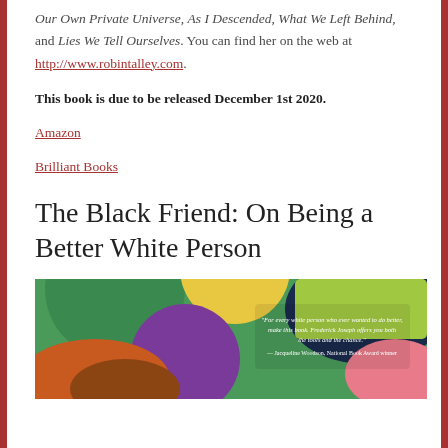Our Own Private Universe, As I Descended, What We Left Behind, and Lies We Tell Ourselves. You can find her on the web at http://www.robintalley.com.
This book is due to be released December 1st 2020.
Amazon
Brilliant Books
The Black Friend: On Being a Better White Person
[Figure (photo): Book cover of 'The Black Friend: On Being a Better White Person' with colorful abstract illustration and a quote from Jacqueline Woodson, National Book Award winner.]